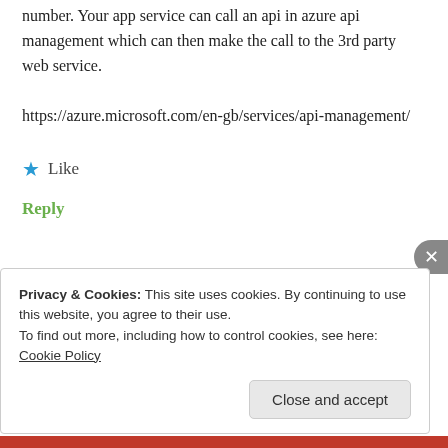number. Your app service can call an api in azure api management which can then make the call to the 3rd party web service.
https://azure.microsoft.com/en-gb/services/api-management/
★ Like
Reply
Privacy & Cookies: This site uses cookies. By continuing to use this website, you agree to their use.
To find out more, including how to control cookies, see here: Cookie Policy
Close and accept